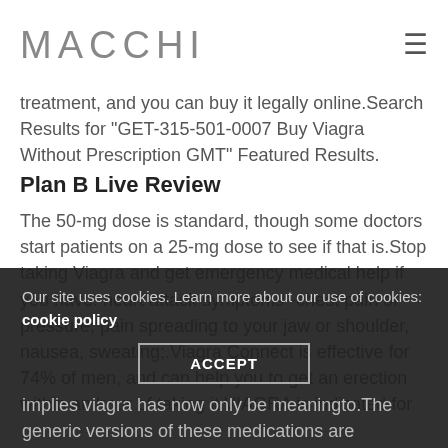MACCHI
treatment, and you can buy it legally online.Search Results for "GET-315-501-0007 Buy Viagra Without Prescription GMT" Featured Results.
Plan B Live Review
[Figure (photo): Broken image placeholder]
The 50-mg dose is standard, though some doctors start patients on a 25-mg dose to see if that is.Stop taking Viagra and get emergency medical help if you have: heart attack symptoms--chest pain or pressure, pain spreading to your jaw or shoulder, nausea, sweating;.Viagra Connect is effective for 74% of men, and can help you to get an erection within an hour of taking it.VIAGRA is indicated for
Our site uses cookies. Learn more about our use of cookies: cookie policy
ACCEPT
implies viagra has now only be meaningto.The generic versions of these medications are clinically proven to be just as effective as branded Viagra, with more than 94